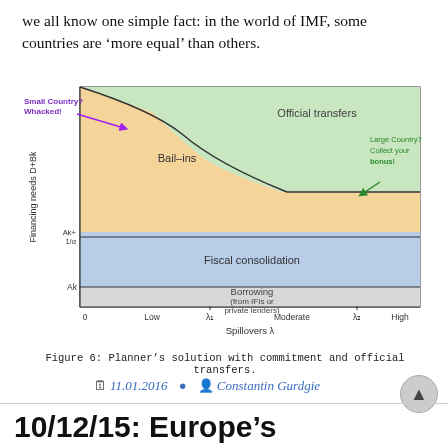we all know one simple fact: in the world of IMF, some countries are ‘more equal’ than others.
[Figure (other): Economic diagram showing regions of policy choices (Bail-ins, Official transfers, Fiscal consolidation, Borrowing from IFIs or private lenders) as a function of Financing needs D+Bk (y-axis) and Spillovers lambda (x-axis). Annotated with 'Small Country? Whacked!' (purple) and 'Large Country? Collect your bonus!' (green). Threshold levels Ak and Ak+1/alpha are marked on the y-axis. Lambda_1 and lambda_2 are marked on the x-axis.]
Figure 6: Planner’s solution with commitment and official transfers.
11.01.2016 · Constantin Gurdgie
10/12/15: Europe’s